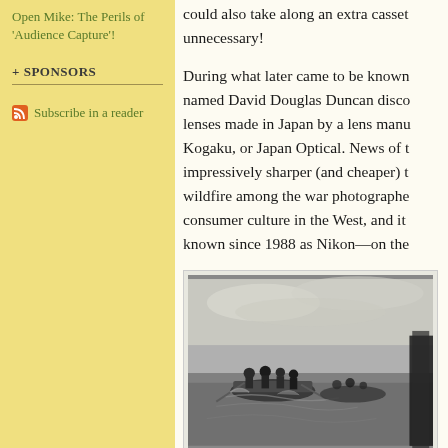Open Mike: The Perils of 'Audience Capture'!
+ SPONSORS
Subscribe in a reader
could also take along an extra cassette unnecessary!
During what later came to be known named David Douglas Duncan disco lenses made in Japan by a lens manu Kogaku, or Japan Optical. News of t impressively sharper (and cheaper) t wildfire among the war photographe consumer culture in the West, and it known since 1988 as Nikon—on the
[Figure (photo): Black and white photograph of people in boats on water, appearing to be a war-era scene with multiple figures rowing or paddling.]